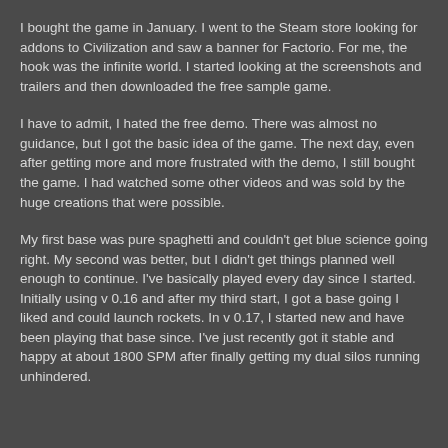I bought the game in January. I went to the Steam store looking for addons to Civilization and saw a banner for Factorio. For me, the hook was the infinite world. I started looking at the screenshots and trailers and then downloaded the free sample game.
I have to admit, I hated the free demo. There was almost no guidance, but I got the basic idea of the game. The next day, even after getting more and more frustrated with the demo, I still bought the game. I had watched some other videos and was sold by the huge creations that were possible.
My first base was pure spaghetti and couldn't get blue science going right. My second was better, but I didn't get things planned well enough to continue. I've basically played every day since I started. Initially using v 0.16 and after my third start, I got a base going I liked and could launch rockets. In v 0.17, I started new and have been playing that base since. I've just recently got it stable and happy at about 1800 SPM after finally getting my dual silos running unhindered.